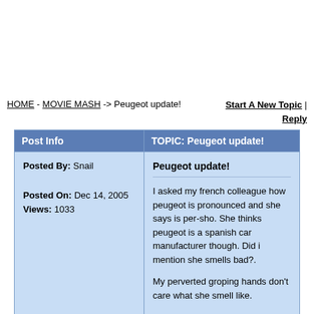HOME - MOVIE MASH -> Peugeot update!   Start A New Topic | Reply
| Post Info | TOPIC: Peugeot update! |
| --- | --- |
| Posted By: Snail
Posted On: Dec 14, 2005
Views: 1033 | Peugeot update!

I asked my french colleague how peugeot is pronounced and she says is per-sho. She thinks peugeot is a spanish car manufacturer though. Did i mention she smells bad?.

My perverted groping hands don't care what she smell like. |
| Posted By: adam
Posted On: Dec 14, 2005 | RE: Peugeot update! |